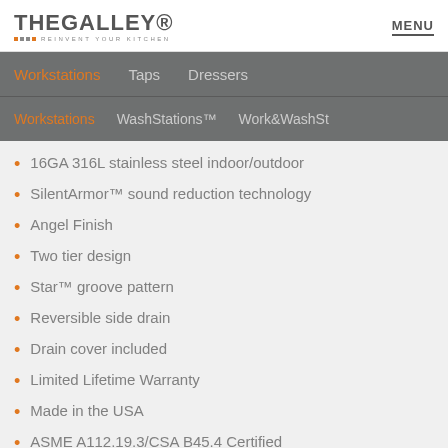THE GALLEY REINVENT YOUR KITCHEN | MENU
Workstations   Taps   Dressers
Workstations   WashStations™   Work&WashSt
16GA 316L stainless steel indoor/outdoor
SilentArmor™ sound reduction technology
Angel Finish
Two tier design
Star™ groove pattern
Reversible side drain
Drain cover included
Limited Lifetime Warranty
Made in the USA
ASME A112.19.3/CSA B45.4 Certified
UPC™ and cUPC™ Certified